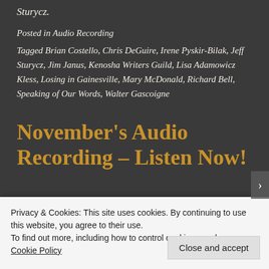Sturycz.
Posted in Audio Recording
Tagged Brian Costello, Chris DeGuire, Irene Pyskir-Bilak, Jeff Sturycz, Jim Janus, Kenosha Writers Guild, Lisa Adamowicz Kless, Losing in Gainesville, Mary McDonald, Richard Bell, Speaking of Our Words, Walter Gascoigne
November's Audio Recording – Listen Now!
Privacy & Cookies: This site uses cookies. By continuing to use this website, you agree to their use.
To find out more, including how to control cookies, see here: Cookie Policy
Close and accept